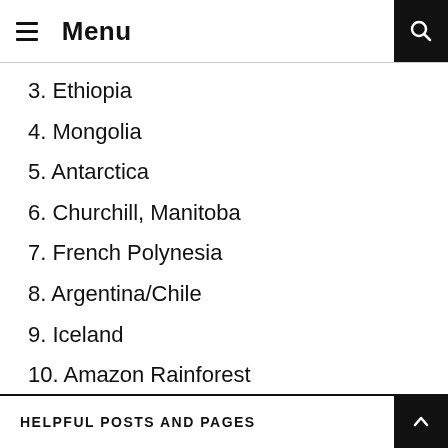Menu
3. Ethiopia
4. Mongolia
5. Antarctica
6. Churchill, Manitoba
7. French Polynesia
8. Argentina/Chile
9. Iceland
10. Amazon Rainforest
HELPFUL POSTS AND PAGES